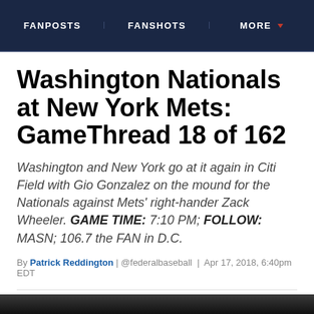FANPOSTS | FANSHOTS | MORE
Washington Nationals at New York Mets: GameThread 18 of 162
Washington and New York go at it again in Citi Field with Gio Gonzalez on the mound for the Nationals against Mets' right-hander Zack Wheeler. GAME TIME: 7:10 PM; FOLLOW: MASN; 106.7 the FAN in D.C.
By Patrick Reddington | @federalbaseball | Apr 17, 2018, 6:40pm EDT